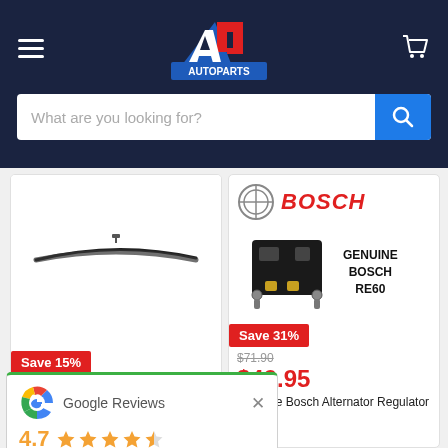[Figure (logo): A1 Autoparts logo on dark navy header with hamburger menu and cart icon]
[Figure (screenshot): Search bar with placeholder text 'What are you looking for?' and blue search button]
[Figure (photo): Wiper blade product image - BBA650]
[Figure (photo): Bosch alternator regulator RE60 product image with Bosch logo]
Save 15%
Save 31%
$71.90
$49.95
Genuine Bosch Alternator Regulator -
Blade - BBA650
[Figure (other): Google Reviews popup with 4.7 rating, 5 stars, 103 reviews]